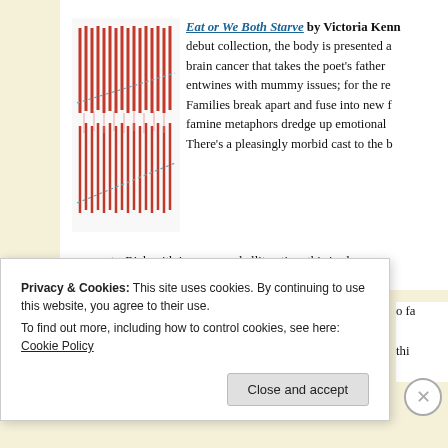[Figure (illustration): Book cover of 'Eat or We Both Starve' featuring red vertical lines/stripes on white background with dashed diagonal lines crossing through]
Eat or We Both Starve by Victoria Kenn debut collection, the body is presented a brain cancer that takes the poet's father entwines with mummy issues; for the re Families break apart and fuse into new f famine metaphors dredge up emotional There's a pleasingly morbid cast to the b moments. Rich with imagery and alliteration, this is also
Privacy & Cookies: This site uses cookies. By continuing to use this website, you agree to their use.
To find out more, including how to control cookies, see here: Cookie Policy
Close and accept